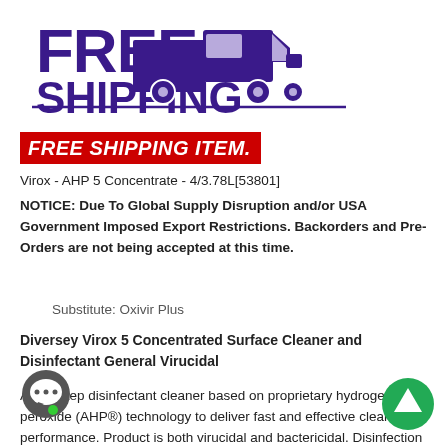[Figure (illustration): FREE SHIPPING text with a purple delivery truck graphic and a horizontal purple underline]
FREE SHIPPING ITEM.
Virox - AHP 5 Concentrate - 4/3.78L[53801]
NOTICE: Due To Global Supply Disruption and/or USA Government Imposed Export Restrictions. Backorders and Pre-Orders are not being accepted at this time.
Substitute: Oxivir Plus
Diversey Virox 5 Concentrated Surface Cleaner and Disinfectant General Virucidal
A one-step disinfectant cleaner based on proprietary hydrogen peroxide (AHP®) technology to deliver fast and effective cleaning performance. Product is both virucidal and bactericidal. Disinfection is a five-minute contact time. Also provides broad spectrum sanitizing on hard surfaces in 30 seconds. Concentrate delivers